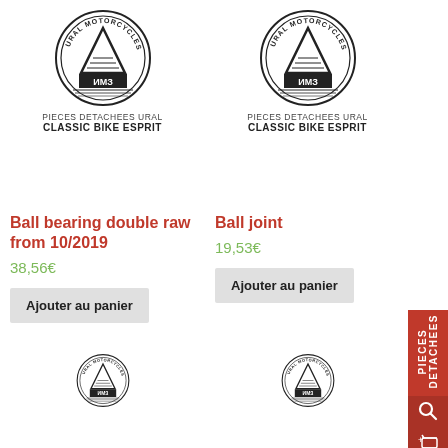[Figure (logo): Ural Motorcycles circular logo with mountain triangle graphic]
PIECES DETACHEES URAL
CLASSIC BIKE ESPRIT
[Figure (logo): Ural Motorcycles circular logo with mountain triangle graphic]
PIECES DETACHEES URAL
CLASSIC BIKE ESPRIT
Ball bearing double raw from 10/2019
38,56€
Ajouter au panier
Ball joint
19,53€
Ajouter au panier
[Figure (logo): Ural Motorcycles circular logo with mountain triangle graphic (bottom left, partial)]
[Figure (logo): Ural Motorcycles circular logo with mountain triangle graphic (bottom right, partial)]